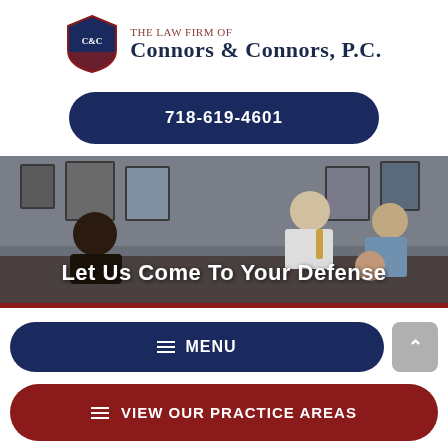[Figure (logo): C&C shield logo for The Law Firm of Connors & Connors, P.C. — navy blue shield with C&C monogram in white, dark red accents]
The Law Firm of Connors & Connors, P.C.
718-619-4601
[Figure (photo): Office scene showing attorneys meeting with clients around a desk, with framed certificates and artwork on walls in background]
Let Us Come To Your Defense
≡ MENU
≡ VIEW OUR PRACTICE AREAS